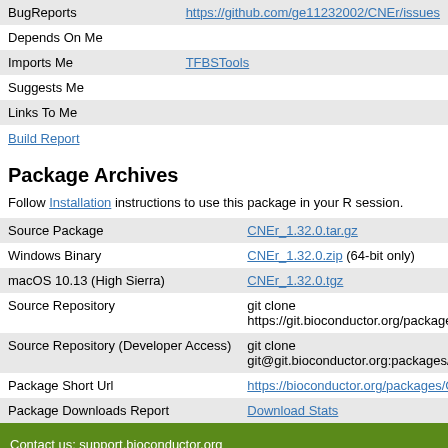| BugReports | https://github.com/ge11232002/CNEr/issues |
| Depends On Me |  |
| Imports Me | TFBSTools |
| Suggests Me |  |
| Links To Me |  |
Build Report
Package Archives
Follow Installation instructions to use this package in your R session.
| Source Package | CNEr_1.32.0.tar.gz |
| Windows Binary | CNEr_1.32.0.zip (64-bit only) |
| macOS 10.13 (High Sierra) | CNEr_1.32.0.tgz |
| Source Repository | git clone https://git.bioconductor.org/packages/... |
| Source Repository (Developer Access) | git clone git@git.bioconductor.org:packages/C... |
| Package Short Url | https://bioconductor.org/packages/CNEr/ |
| Package Downloads Report | Download Stats |
Contact us: support.bioconductor.org
Copyright © 2003 - 2022, Bioconductor
Home    Install    Help